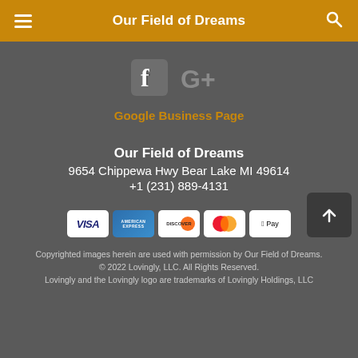Our Field of Dreams
[Figure (logo): Facebook icon (F logo) and Google+ icon (G+) in gray]
Google Business Page
Our Field of Dreams
9654 Chippewa Hwy Bear Lake MI 49614
+1 (231) 889-4131
[Figure (infographic): Payment method icons: Visa, American Express, Discover, Mastercard, Apple Pay]
Copyrighted images herein are used with permission by Our Field of Dreams.
© 2022 Lovingly, LLC. All Rights Reserved.
Lovingly and the Lovingly logo are trademarks of Lovingly Holdings, LLC